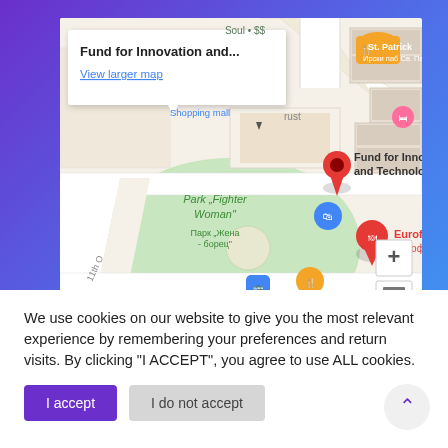[Figure (map): Google Maps screenshot showing Fund for Innovation and Technology location marker in Sofia, Bulgaria. A popup tooltip reads 'Fund for Innovation and...' with a 'View larger map' link. Nearby landmarks include St. Patrick pub, Park Fighter Woman (Парк "Жена-борец"), Eurofarm, Shopping mall, and Restaurant National. Orange, red, pink, and blue map pins are visible. Zoom in/out controls (+/-) appear on the right.]
We use cookies on our website to give you the most relevant experience by remembering your preferences and return visits. By clicking "I ACCEPT", you agree to use ALL cookies.
I accept
I do not accept